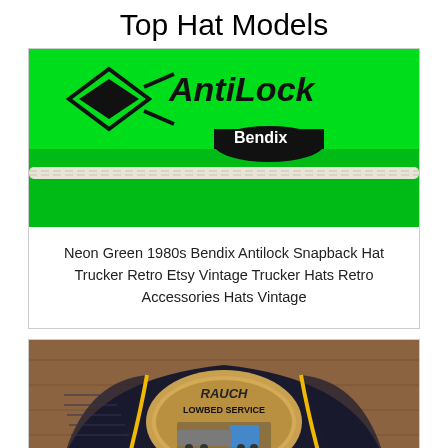Top Hat Models
[Figure (photo): Neon green 1980s Bendix Antilock snapback trucker hat with white rope accent and AntiLock Bendix logo printed on front]
Neon Green 1980s Bendix Antilock Snapback Hat Trucker Retro Etsy Vintage Trucker Hats Retro Accessories Hats Vintage
[Figure (photo): Dark navy/black trucker hat with mesh back and yellow piping, featuring an oval patch reading 'Rauch Lowbed Service Williams Lake, B.C.' with a semi-truck graphic, displayed on a wooden surface]